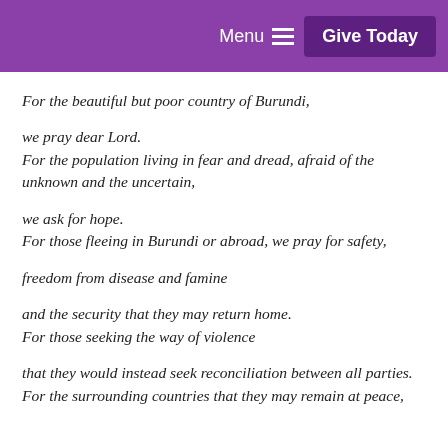Menu  Give Today
For the beautiful but poor country of Burundi,
we pray dear Lord.
For the population living in fear and dread, afraid of the unknown and the uncertain,
we ask for hope.
For those fleeing in Burundi or abroad, we pray for safety,
freedom from disease and famine
and the security that they may return home.
For those seeking the way of violence
that they would instead seek reconciliation between all parties.
For the surrounding countries that they may remain at peace,